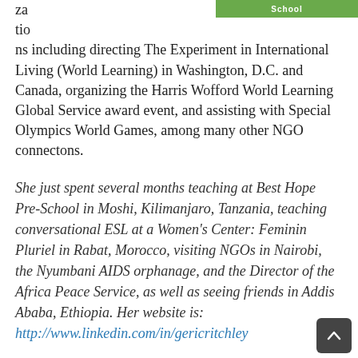za tio ns including directing The Experiment in International Living (World Learning) in Washington, D.C. and Canada, organizing the Harris Wofford World Learning Global Service award event, and assisting with Special Olympics World Games, among many other NGO connectons.
She just spent several months teaching at Best Hope Pre-School in Moshi, Kilimanjaro, Tanzania, teaching conversational ESL at a Women's Center: Feminin Pluriel in Rabat, Morocco, visiting NGOs in Nairobi, the Nyumbani AIDS orphanage, and the Director of the Africa Peace Service, as well as seeing friends in Addis Ababa, Ethiopia. Her website is: http://www.linkedin.com/in/gericritchley